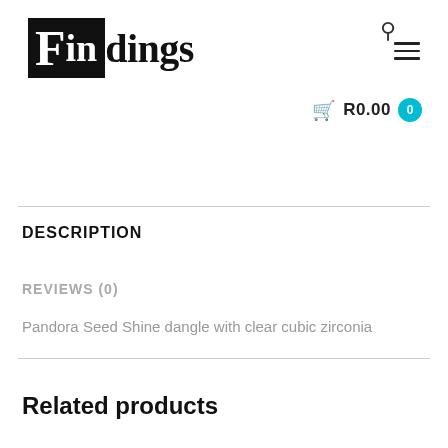Findings — R0.00 0
DESCRIPTION
REVIEWS (0)
Pandora Seed Shine dangle with clear cubic zirconia
Related products